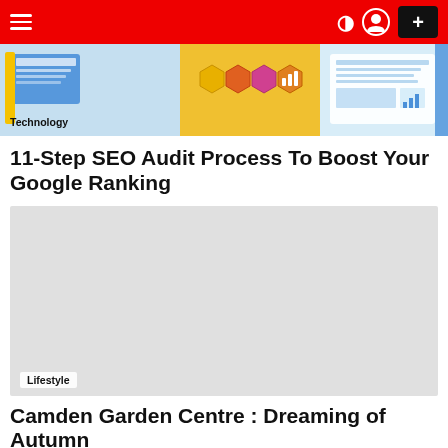Navigation bar with hamburger menu, moon/dark mode icon, user icon, and plus button
[Figure (illustration): Hero image showing colorful tech/SEO related illustration with screens, icons, and charts in blues, yellows, and oranges]
Technology
11-Step SEO Audit Process To Boost Your Google Ranking
[Figure (other): Gray advertisement or image placeholder block]
Lifestyle
Camden Garden Centre : Dreaming of Autumn